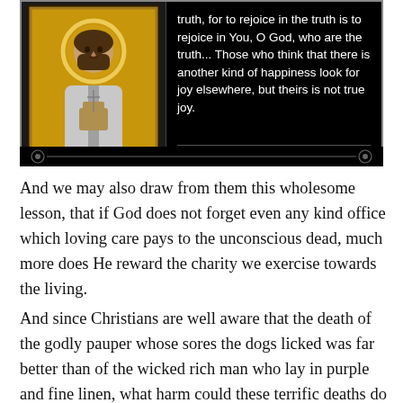[Figure (illustration): A dark/black framed quote card with a Byzantine-style religious icon (saint with halo holding a church) on the left, and a quote on the right: 'True happiness is to rejoice in the truth, for to rejoice in the truth is to rejoice in You, O God, who are the truth... Those who think that there is another kind of happiness look for joy elsewhere, but theirs is not true joy.' with AZ QUOTES watermark at bottom.]
And we may also draw from them this wholesome lesson, that if God does not forget even any kind office which loving care pays to the unconscious dead, much more does He reward the charity we exercise towards the living.
And since Christians are well aware that the death of the godly pauper whose sores the dogs licked was far better than of the wicked rich man who lay in purple and fine linen, what harm could these terrific deaths do to the dead who had lived well. The dei selecti are the main gods and